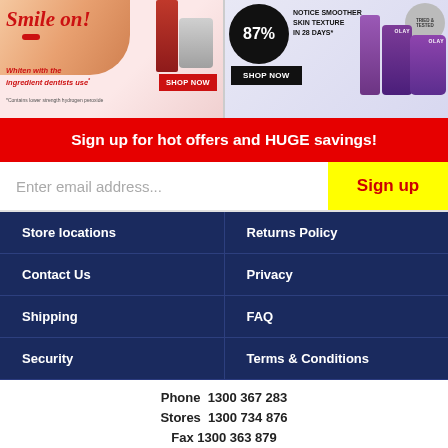[Figure (photo): Two promotional advertising banners side by side. Left: Colgate Renewal whitening product ad with woman smiling, red italic 'Smile on!' text, tagline 'Whiten with the ingredient dentists use*', fine print '*Contains lower strength hydrogen peroxide', red SHOP NOW button. Right: Olay Regenerist Retinol product ad showing 87% notice smoother skin texture in 28 days, SHOP NOW button, purple Olay product containers.]
Sign up for hot offers and HUGE savings!
Enter email address...
Sign up
| Store locations | Returns Policy |
| Contact Us | Privacy |
| Shipping | FAQ |
| Security | Terms & Conditions |
Phone  1300 367 283
Stores  1300 734 876
Fax  1300 363 879
Email: info@epharmacy.com.au